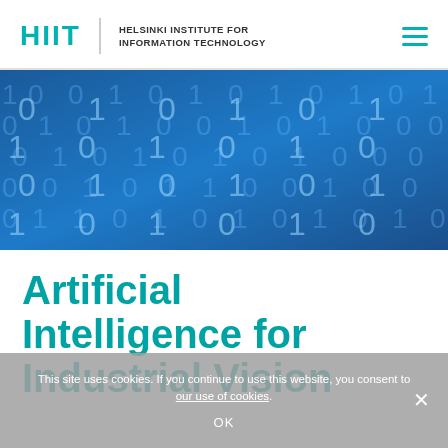HIIT | HELSINKI INSTITUTE FOR INFORMATION TECHNOLOGY
[Figure (illustration): Blue background banner with binary digits (0s and 1s) in a digital/matrix style pattern]
Artificial Intelligence for Industrial Vision
This site uses cookies. If you continue to use this website, you consent to our use of cookies. OK